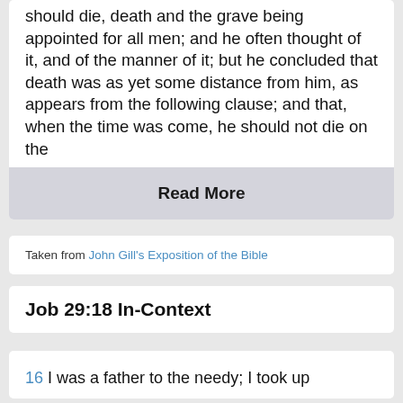should die, death and the grave being appointed for all men; and he often thought of it, and of the manner of it; but he concluded that death was as yet some distance from him, as appears from the following clause; and that, when the time was come, he should not die on the
Read More
Taken from John Gill's Exposition of the Bible
Job 29:18 In-Context
16 I was a father to the needy; I took up